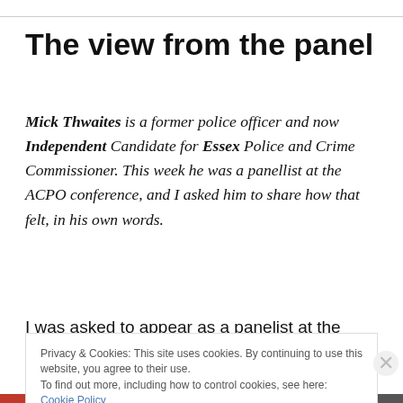The view from the panel
Mick Thwaites is a former police officer and now Independent Candidate for Essex Police and Crime Commissioner. This week he was a panellist at the ACPO conference, and I asked him to share how that felt, in his own words.
I was asked to appear as a panelist at the ACPO conference in Manchester, Wednesday 23rd May 2012;
Privacy & Cookies: This site uses cookies. By continuing to use this website, you agree to their use.
To find out more, including how to control cookies, see here: Cookie Policy